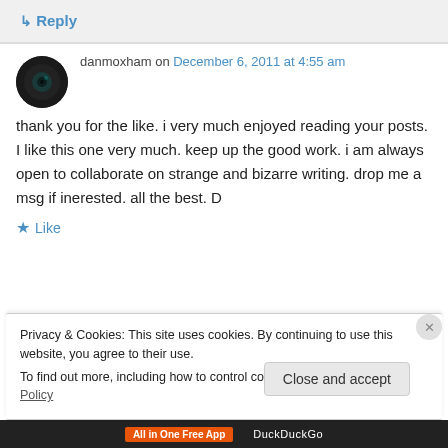↳ Reply
danmoxham on December 6, 2011 at 4:55 am
thank you for the like. i very much enjoyed reading your posts. I like this one very much. keep up the good work. i am always open to collaborate on strange and bizarre writing. drop me a msg if inerested. all the best. D
★ Like
Privacy & Cookies: This site uses cookies. By continuing to use this website, you agree to their use.
To find out more, including how to control cookies, see here: Cookie Policy
Close and accept